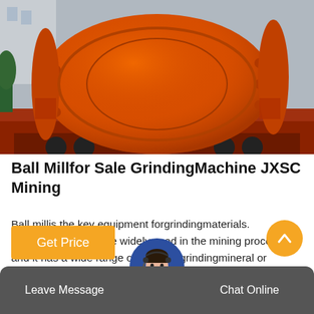[Figure (photo): Large orange ball mill machine loaded on a flatbed truck, photographed outdoors.]
Ball Millfor Sale GrindingMachine JXSC Mining
Ball millis the key equipment forgrindingmaterials. thosegrinding millsare widely used in the mining process, and it has a wide range of usage ingrindingmineral or material into fine powder, such as gold, iron⁠zinc ore, copper, etc.. JXSC Mining produce reliable…
Leave Message  |  Chat Online